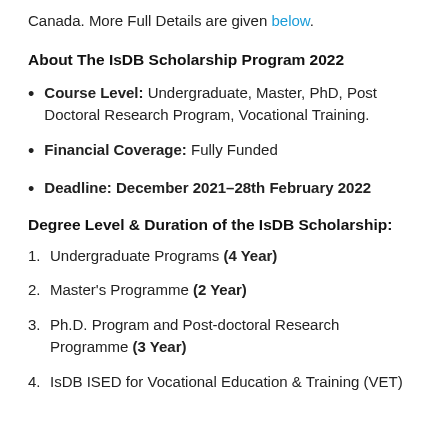Canada. More Full Details are given below.
About The IsDB Scholarship Program 2022
Course Level: Undergraduate, Master, PhD, Post Doctoral Research Program, Vocational Training.
Financial Coverage: Fully Funded
Deadline: December 2021–28th February 2022
Degree Level & Duration of the IsDB Scholarship:
Undergraduate Programs (4 Year)
Master's Programme (2 Year)
Ph.D. Program and Post-doctoral Research Programme (3 Year)
IsDB ISED for Vocational Education & Training (VET) and